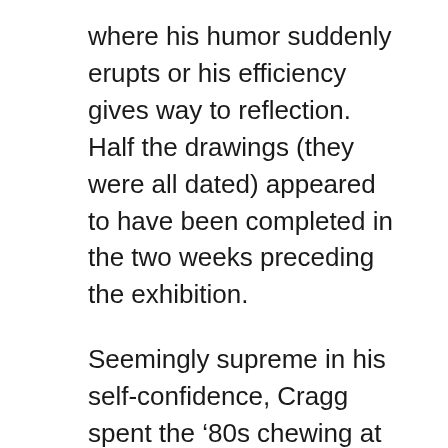where his humor suddenly erupts or his efficiency gives way to reflection. Half the drawings (they were all dated) appeared to have been completed in the two weeks preceding the exhibition.
Seemingly supreme in his self-confidence, Cragg spent the ‘80s chewing at the boundaries of the sculptural object, making brash works that looked for trouble. In this decade, as public commissions take a growing share of his energy and interest, his pieces more often please than provoke. In the interview for the Pompidou catalogue, Cragg takes pains to distance himself from Henry Moore, the last English sculptor to